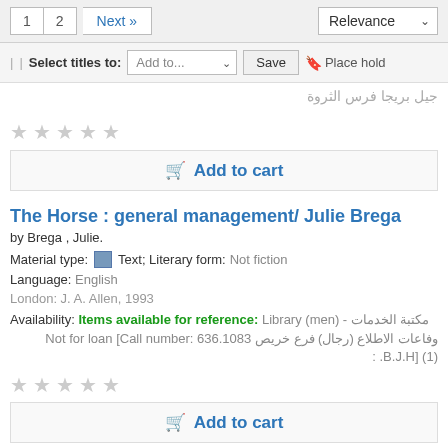1  2  Next »   Relevance
Select titles to: Add to...  Save  Place hold
(Arabic partial text - truncated)
★★★★★ (empty stars)
Add to cart
The Horse : general management/ Julie Brega
by Brega , Julie.
Material type: Text; Literary form: Not fiction
Language: English
London: J. A. Allen, 1993
Availability: Items available for reference: Library (men) - مكتبة الخدمات وفاعات الاطلاع (رجال) فرع خريص Not for loan [Call number: 636.1083 B.J.H] (1). :
★★★★★ (empty stars)
Add to cart